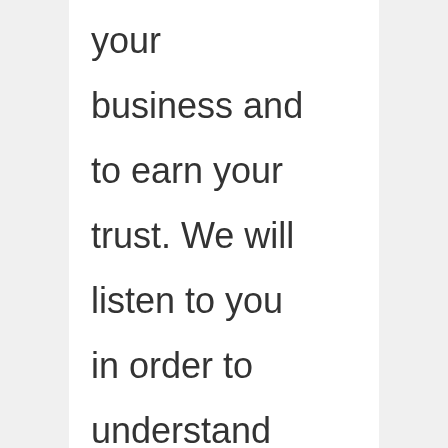your business and to earn your trust. We will listen to you in order to understand your concerns, work with you to create an effective legal strategy, and then proceed to implement the strategy